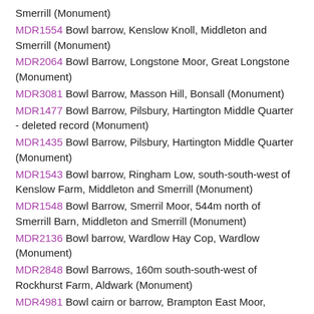Smerrill (Monument)
MDR1554 Bowl barrow, Kenslow Knoll, Middleton and Smerrill (Monument)
MDR2064 Bowl Barrow, Longstone Moor, Great Longstone (Monument)
MDR3081 Bowl Barrow, Masson Hill, Bonsall (Monument)
MDR1477 Bowl Barrow, Pilsbury, Hartington Middle Quarter - deleted record (Monument)
MDR1435 Bowl Barrow, Pilsbury, Hartington Middle Quarter (Monument)
MDR1543 Bowl barrow, Ringham Low, south-south-west of Kenslow Farm, Middleton and Smerrill (Monument)
MDR1548 Bowl Barrow, Smerril Moor, 544m north of Smerrill Barn, Middleton and Smerrill (Monument)
MDR2136 Bowl barrow, Wardlow Hay Cop, Wardlow (Monument)
MDR2848 Bowl Barrows, 160m south-south-west of Rockhurst Farm, Aldwark (Monument)
MDR4981 Bowl cairn or barrow, Brampton East Moor,